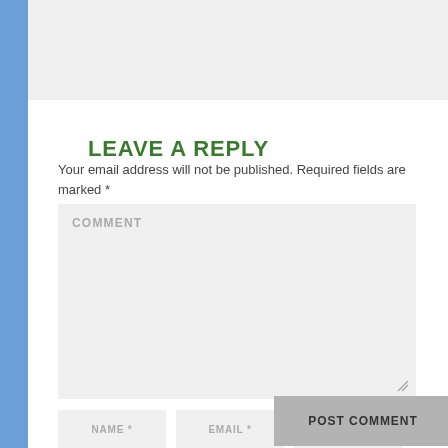LEAVE A REPLY
Your email address will not be published. Required fields are marked *
COMMENT
NAME *
EMAIL *
WEBSITE
POST COMMENT